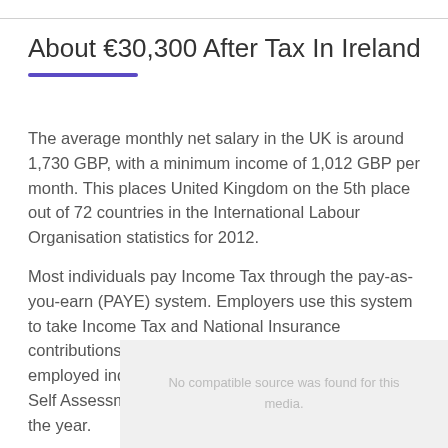About €30,300 After Tax In Ireland
The average monthly net salary in the UK is around 1,730 GBP, with a minimum income of 1,012 GBP per month. This places United Kingdom on the 5th place out of 72 countries in the International Labour Organisation statistics for 2012.
Most individuals pay Income Tax through the pay-as-you-earn (PAYE) system. Employers use this system to take Income Tax and National Insurance contributions from the employee's monthly salary. Self-employed individuals may pay these taxes through Self Assessment, by filling in a tax return at the end of the year.
[Figure (other): Video placeholder with text 'No compatible source was found for this media.']